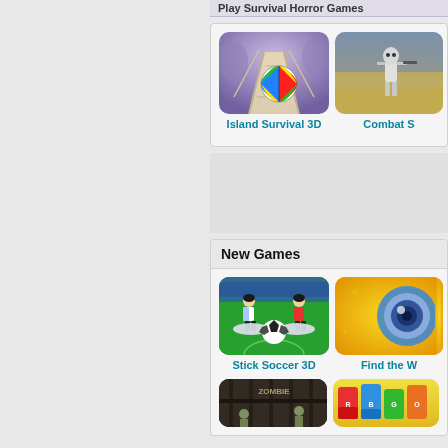Play Survival Horror Games
[Figure (screenshot): Island Survival 3D game thumbnail showing wooden bridge/stairs with colorful beach ball in purple foggy environment]
Island Survival 3D
[Figure (screenshot): Combat S game thumbnail showing armed character in desert environment]
Combat S
New Games
[Figure (screenshot): Stick Soccer 3D game thumbnail showing two cartoon soccer players with a soccer ball on a green field]
Stick Soccer 3D
[Figure (screenshot): Find the W game thumbnail showing colorful circular target/eye design on yellow/orange background]
Find the W
[Figure (screenshot): Zombie game thumbnail showing dark dungeon scene with zombie text]
[Figure (screenshot): Color game thumbnail showing colorful toy/game pieces on yellow background]